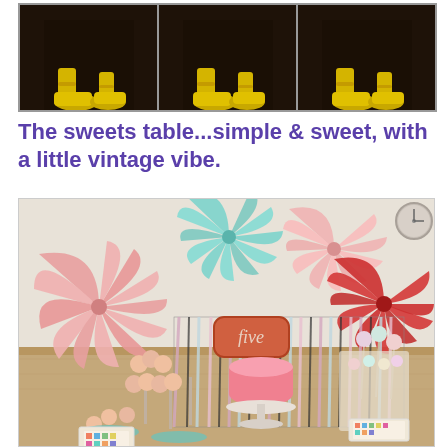[Figure (photo): Three-panel photo strip showing feet with yellow shoes against dark wood floor background]
The sweets table...simple & sweet, with a little vintage vibe.
[Figure (photo): Party sweets table with pink and teal paper fan decorations on the wall, a red paper fan, ribbon garland backdrop with 'five' sign, tiered cupcake stands, pink birthday cake on white cake stand, cake pops, and various sweets on a table covered with a tan cloth]